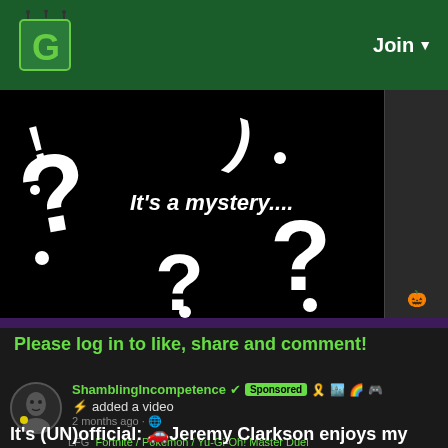G | Join
[Figure (screenshot): Video thumbnail showing black background with white question marks and italic text 'It's a mystery....' with a side panel]
Please log in to like, share and comment!
ShamblingIncompetence ✓ Sponsored 🎗️ 🏙️ 🌈 G
⚡ added a video
2 months ago · 🌐
LFG Fortnite / Pokemon / Yu-Gi-Oh! Master Duel
It's (UN)official: 🚗Jeremy Clarkson enjoys my content!🚗